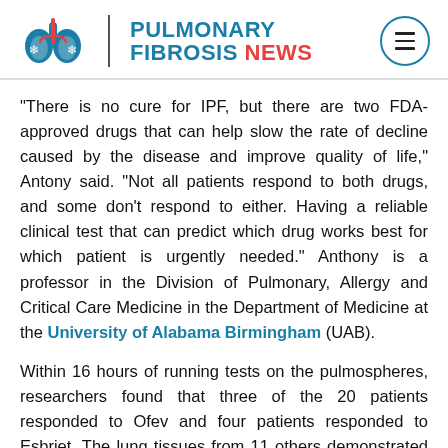[Figure (logo): Pulmonary Fibrosis News logo with lung icon, vertical divider, and brand name]
“There is no cure for IPF, but there are two FDA-approved drugs that can help slow the rate of decline caused by the disease and improve quality of life,” Antony said. “Not all patients respond to both drugs, and some don’t respond to either. Having a reliable clinical test that can predict which drug works best for which patient is urgently needed.” Anthony is a professor in the Division of Pulmonary, Allergy and Critical Care Medicine in the Department of Medicine at the University of Alabama Birmingham (UAB).
Within 16 hours of running tests on the pulmospheres, researchers found that three of the 20 patients responded to Ofev and four patients responded to Esbriet. The lung tissues from 11 others demonstrated sensitivity to both